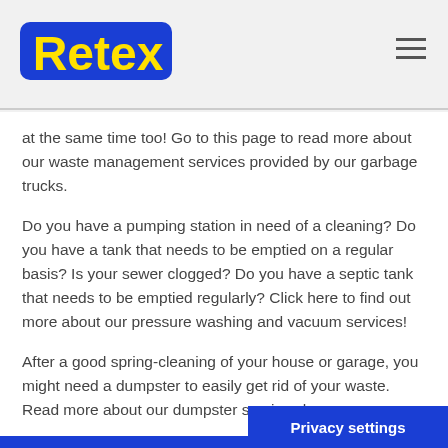Retex
at the same time too! Go to this page to read more about our waste management services provided by our garbage trucks.
Do you have a pumping station in need of a cleaning? Do you have a tank that needs to be emptied on a regular basis? Is your sewer clogged? Do you have a septic tank that needs to be emptied regularly? Click here to find out more about our pressure washing and vacuum services!
After a good spring-cleaning of your house or garage, you might need a dumpster to easily get rid of your waste. Read more about our dumpster services here.
Another use for a dumpster is at construction sites or when remodeling your house. For those purpos
Privacy settings